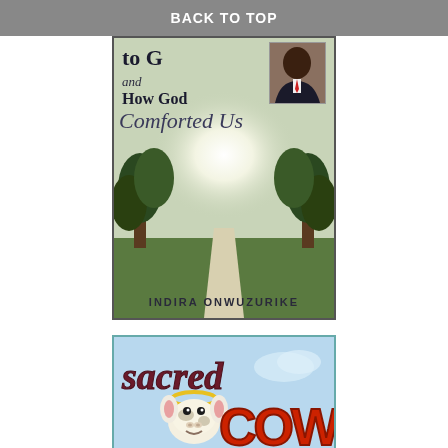BACK TO TOP
[Figure (illustration): Book cover showing 'and How God Comforted Us' by Indira Onwuzurike, with a pathway through trees and a bright light, plus a portrait photo in corner]
[Figure (illustration): Book cover for 'Sacred Cows' with cartoon cow and bold stylized text in red and maroon on light blue background]